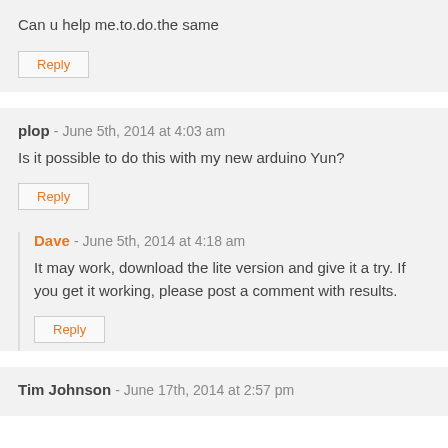Can u help me.to.do.the same
Reply
plop - June 5th, 2014 at 4:03 am
Is it possible to do this with my new arduino Yun?
Reply
Dave - June 5th, 2014 at 4:18 am
It may work, download the lite version and give it a try. If you get it working, please post a comment with results.
Reply
Tim Johnson - June 17th, 2014 at 2:57 pm